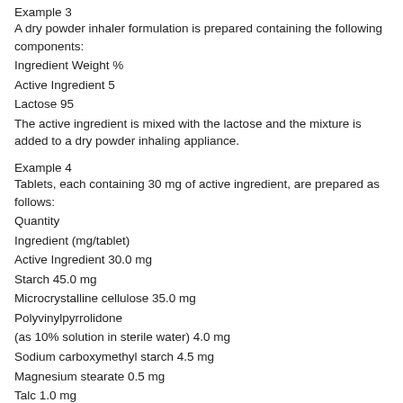Example 3
A dry powder inhaler formulation is prepared containing the following components:
Ingredient Weight %
Active Ingredient 5
Lactose 95
The active ingredient is mixed with the lactose and the mixture is added to a dry powder inhaling appliance.
Example 4
Tablets, each containing 30 mg of active ingredient, are prepared as follows:
Quantity
Ingredient (mg/tablet)
Active Ingredient 30.0 mg
Starch 45.0 mg
Microcrystalline cellulose 35.0 mg
Polyvinylpyrrolidone
(as 10% solution in sterile water) 4.0 mg
Sodium carboxymethyl starch 4.5 mg
Magnesium stearate 0.5 mg
Talc 1.0 mg